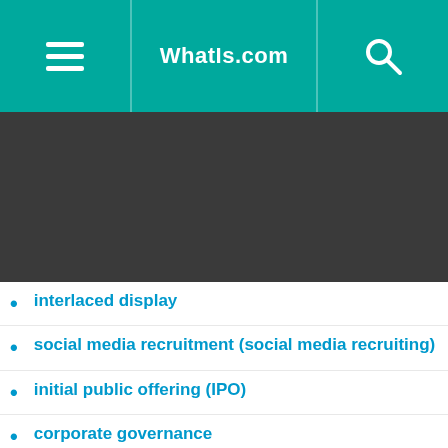WhatIs.com
[Figure (screenshot): Dark banner/advertisement area]
interlaced display
social media recruitment (social media recruiting)
initial public offering (IPO)
corporate governance
raised floor
hierarchy
backpropagation algorithm
JSON (JavaScript Object Notation)
inkjet printer
Java string
compound
fan-out
Apple iOS